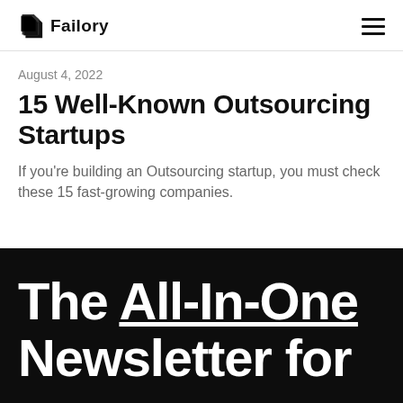Failory
August 4, 2022
15 Well-Known Outsourcing Startups
If you're building an Outsourcing startup, you must check these 15 fast-growing companies.
The All-In-One Newsletter for